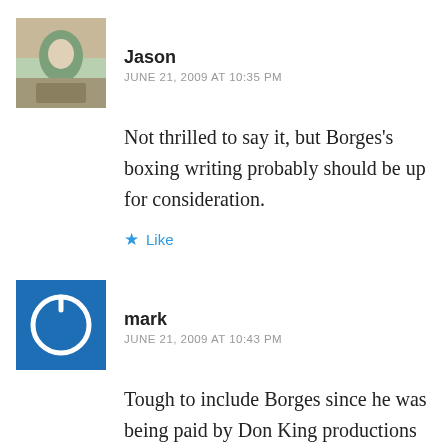[Figure (photo): User avatar for Jason – outdoor/nature photo]
Jason
JUNE 21, 2009 AT 10:35 PM
Not thrilled to say it, but Borges's boxing writing probably should be up for consideration.
Like
[Figure (illustration): Blue square avatar with white power button icon for user mark]
mark
JUNE 21, 2009 AT 10:43 PM
Tough to include Borges since he was being paid by Don King productions to broadcast and comment at PPV championship fights that he would also